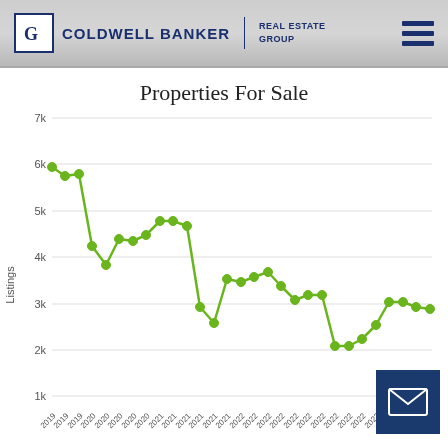Coldwell Banker Real Estate Group
Properties For Sale
[Figure (line-chart): Properties For Sale]